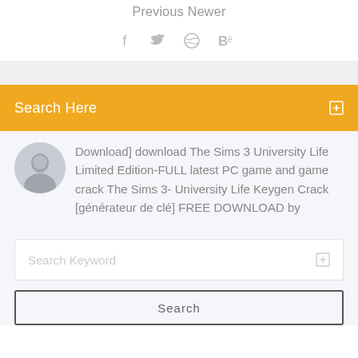Previous Newer
[Figure (illustration): Social media icons: Facebook (f), Twitter bird, Dribbble (basketball), Behance (Be)]
[Figure (illustration): Gray horizontal bar]
Search Here
Download] download The Sims 3 University Life Limited Edition-FULL latest PC game and game crack The Sims 3- University Life Keygen Crack [générateur de clé] FREE DOWNLOAD by
[Figure (photo): Circular avatar photo of a man]
Search Keyword
Search